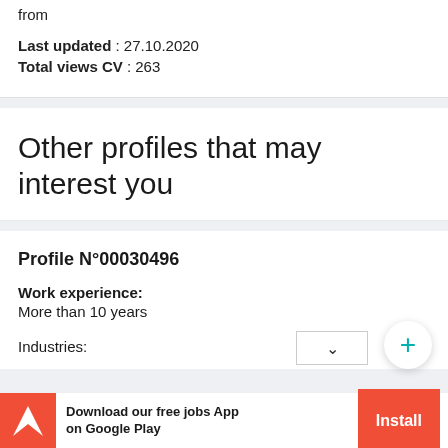from
Last updated : 27.10.2020
Total views CV : 263
Other profiles that may interest you
Profile N°00030496
Work experience:
More than 10 years
Industries:
Download our free jobs App on Google Play